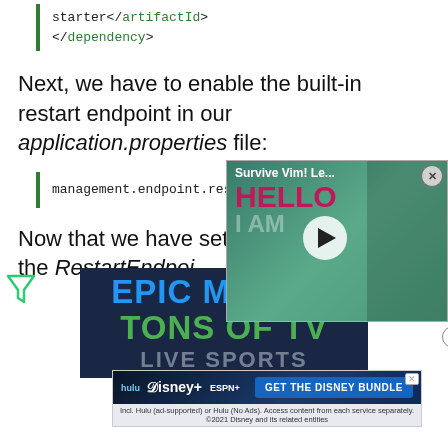</dependency>
Next, we have to enable the built-in restart endpoint in our application.properties file:
management.endpoint.restart.enabled=true
Now that we have set up... inject the RestartEndpoi...
[Figure (screenshot): Video popup overlay showing 'Survive Vim! Le...' with HELLO I AM text and play button]
[Figure (screenshot): Advertisement banner: EPIC M... TONS OF TV LIVE SPORTS in dark blue background]
[Figure (screenshot): Disney Bundle advertisement with hulu, Disney+, ESPN+ logos and GET THE DISNEY BUNDLE button]